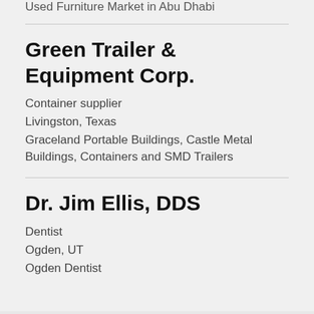Used Furniture Market in Abu Dhabi
Green Trailer & Equipment Corp.
Container supplier
Livingston, Texas
Graceland Portable Buildings, Castle Metal Buildings, Containers and SMD Trailers
Dr. Jim Ellis, DDS
Dentist
Ogden, UT
Ogden Dentist